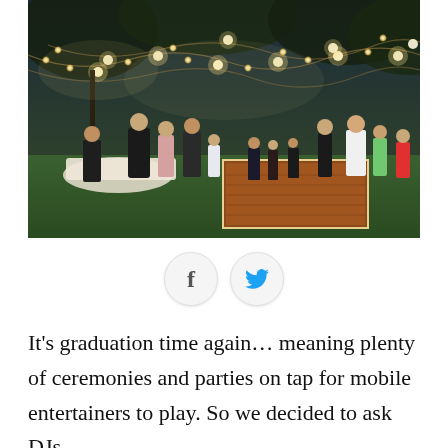[Figure (photo): Outdoor evening party or wedding reception with string lights hanging between trees, people dancing on a wooden dance floor and mingling at tables on a grass lawn.]
[Figure (infographic): Social sharing buttons: Facebook (f) and Twitter (bird icon) circular buttons]
It's graduation time again… meaning plenty of ceremonies and parties on tap for mobile entertainers to play. So we decided to ask DJs